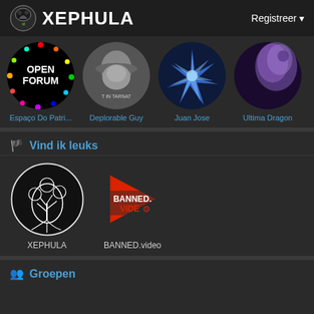XEPHULA   Registreer
[Figure (screenshot): Four circular profile avatars: Open Forum (colorful circular border on dark background), Deplorable Guy (black and white photo of a man with hat), Juan Jose (blue glowing lightning figure), Ultima Dragon (purple nebula)]
Espaço Do Patri...   Deplorable Guy   Juan Jose   Ultima Dragon
Vind ik leuks
[Figure (screenshot): Two circular logo images: XEPHULA (black and white tree of life design), BANNED.video (red triangle play button on dark background with BANNED.VIDEO text)]
XEPHULA   BANNED.video
Groepen